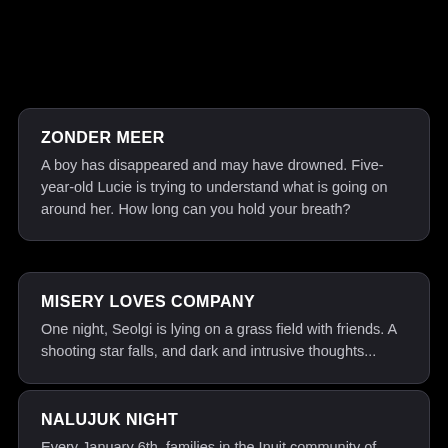ZONDER MEER
A boy has disappeared and may have drowned. Five-year-old Lucie is trying to understand what is going on around her. How long can you hold your breath?
MISERY LOVES COMPANY
One night, Seolgi is lying on a grass field with friends. A shooting star falls, and dark and intrusive thoughts...
NALUJUK NIGHT
Every January 6th, families in the Inuit community of